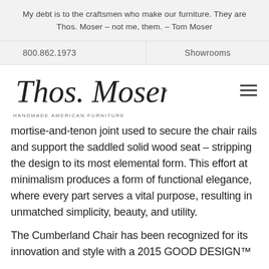My debt is to the craftsmen who make our furniture. They are Thos. Moser – not me, them. – Tom Moser
800.862.1973    Showrooms
[Figure (logo): Thos. Moser cursive signature logo with tagline HANDMADE AMERICAN FURNITURE]
mortise-and-tenon joint used to secure the chair rails and support the saddled solid wood seat – stripping the design to its most elemental form. This effort at minimalism produces a form of functional elegance, where every part serves a vital purpose, resulting in unmatched simplicity, beauty, and utility.
The Cumberland Chair has been recognized for its innovation and style with a 2015 GOOD DESIGN™